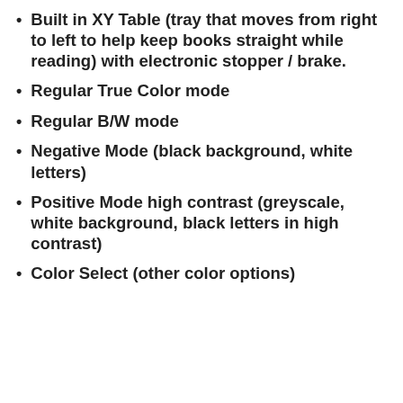Built in XY Table (tray that moves from right to left to help keep books straight while reading) with electronic stopper / brake.
Regular True Color mode
Regular B/W mode
Negative Mode (black background, white letters)
Positive Mode high contrast (greyscale, white background, black letters in high contrast)
Color Select (other color options)